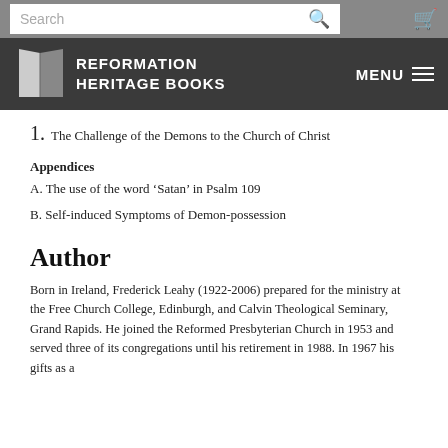Search [Reformation Heritage Books] MENU
1. The Challenge of the Demons to the Church of Christ
Appendices
A. The use of the word ‘Satan’ in Psalm 109
B. Self-induced Symptoms of Demon-possession
Author
Born in Ireland, Frederick Leahy (1922-2006) prepared for the ministry at the Free Church College, Edinburgh, and Calvin Theological Seminary, Grand Rapids. He joined the Reformed Presbyterian Church in 1953 and served three of its congregations until his retirement in 1988. In 1967 his gifts as a